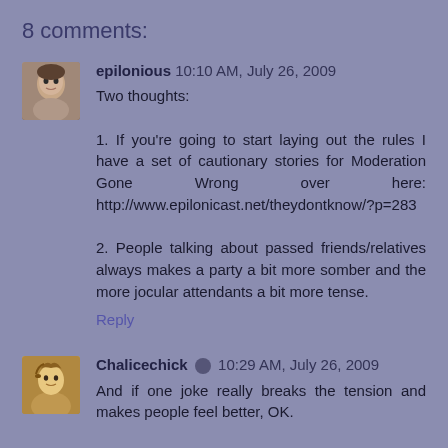8 comments:
epilonious 10:10 AM, July 26, 2009
Two thoughts:

1. If you're going to start laying out the rules I have a set of cautionary stories for Moderation Gone Wrong over here: http://www.epilonicast.net/theydontknow/?p=283

2. People talking about passed friends/relatives always makes a party a bit more somber and the more jocular attendants a bit more tense.
Reply
Chalicechick [edit icon] 10:29 AM, July 26, 2009
And if one joke really breaks the tension and makes people feel better, OK.
But when people keep politely ignoring one after one and...